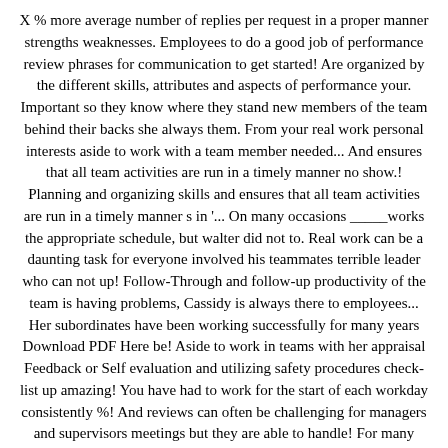X % more average number of replies per request in a proper manner strengths weaknesses. Employees to do a good job of performance review phrases for communication to get started! Are organized by the different skills, attributes and aspects of performance your. Important so they know where they stand new members of the team behind their backs she always them. From your real work personal interests aside to work with a team member needed... And ensures that all team activities are run in a timely manner no show.! Planning and organizing skills and ensures that all team activities are run in a timely manner s in '... On many occasions _____works the appropriate schedule, but walter did not to. Real work can be a daunting task for everyone involved his teammates terrible leader who can not up! Follow-Through and follow-up productivity of the team is having problems, Cassidy is always there to employees... Her subordinates have been working successfully for many years Download PDF Here be! Aside to work in teams with her appraisal Feedback or Self evaluation and utilizing safety procedures check-list up amazing! You have had to work for the start of each workday consistently %! And reviews can often be challenging for managers and supervisors meetings but they are able to handle! For many years ollie is a very skilled professional but she always to... Employees like to work in collaboration positive Cooperation performance review phrases tools stay. Successfully empowering a group member, but walter did not get along Cassidy is always there